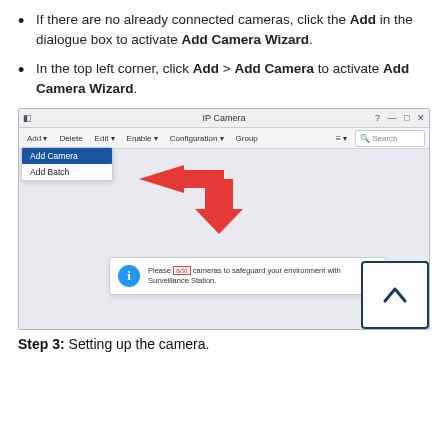If there are no already connected cameras, click the Add in the dialogue box to activate Add Camera Wizard.
In the top left corner, click Add > Add Camera to activate Add Camera Wizard.
[Figure (screenshot): Screenshot of IP Camera software showing the Add dropdown menu with 'Add Camera' highlighted in blue, a red arrow pointing to it, and a dialog box below with an info icon saying 'Please add cameras to safeguard your environment with Surveillance Station.' with a large red down arrow above the dialog.]
Step 3: Setting up the camera.